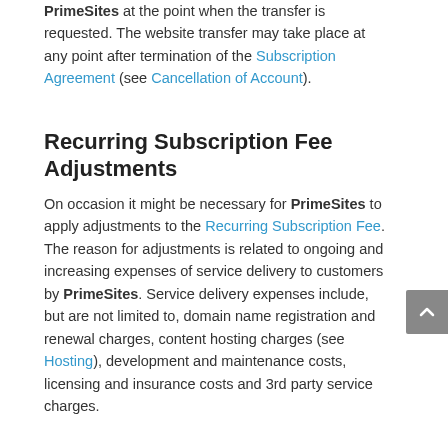PrimeSites at the point when the transfer is requested. The website transfer may take place at any point after termination of the Subscription Agreement (see Cancellation of Account).
Recurring Subscription Fee Adjustments
On occasion it might be necessary for PrimeSites to apply adjustments to the Recurring Subscription Fee. The reason for adjustments is related to ongoing and increasing expenses of service delivery to customers by PrimeSites. Service delivery expenses include, but are not limited to, domain name registration and renewal charges, content hosting charges (see Hosting), development and maintenance costs, licensing and insurance costs and 3rd party service charges.